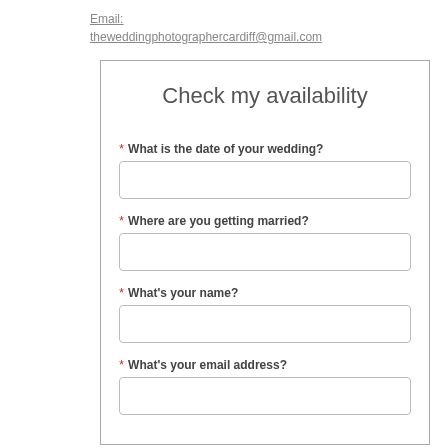Email:
theweddingphotographercardiff@gmail.com
Check my availability
* What is the date of your wedding?
* Where are you getting married?
* What's your name?
* What's your email address?